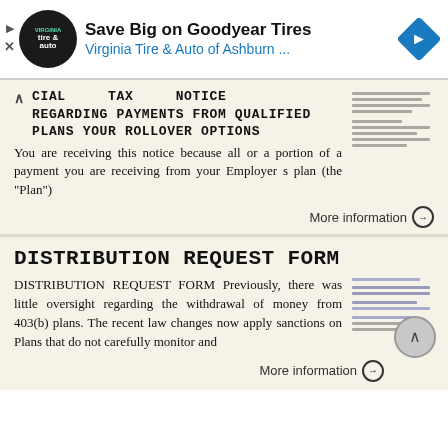[Figure (screenshot): Advertisement banner for Virginia Tire & Auto of Ashburn featuring Goodyear Tires deal]
SPECIAL TAX NOTICE REGARDING PAYMENTS FROM QUALIFIED PLANS YOUR ROLLOVER OPTIONS
You are receiving this notice because all or a portion of a payment you are receiving from your Employer s plan (the "Plan")
More information →
DISTRIBUTION REQUEST FORM
DISTRIBUTION REQUEST FORM Previously, there was little oversight regarding the withdrawal of money from 403(b) plans. The recent law changes now apply sanctions on Plans that do not carefully monitor and
More information →